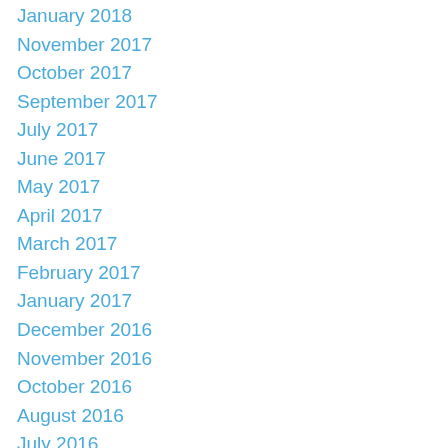January 2018
November 2017
October 2017
September 2017
July 2017
June 2017
May 2017
April 2017
March 2017
February 2017
January 2017
December 2016
November 2016
October 2016
August 2016
July 2016
June 2016
May 2016
April 2016
March 2016